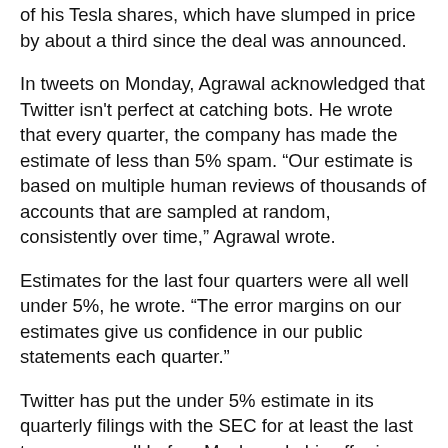of his Tesla shares, which have slumped in price by about a third since the deal was announced.
In tweets on Monday, Agrawal acknowledged that Twitter isn't perfect at catching bots. He wrote that every quarter, the company has made the estimate of less than 5% spam. “Our estimate is based on multiple human reviews of thousands of accounts that are sampled at random, consistently over time,” Agrawal wrote.
Estimates for the last four quarters were all well under 5%, he wrote. “The error margins on our estimates give us confidence in our public statements each quarter.”
Twitter has put the under 5% estimate in its quarterly filings with the SEC for at least the last two years, well before Musk made his offer in April. Over that same period, Twitter has also expressed uncertainty in its bot count, conceding that the estimate may be low.